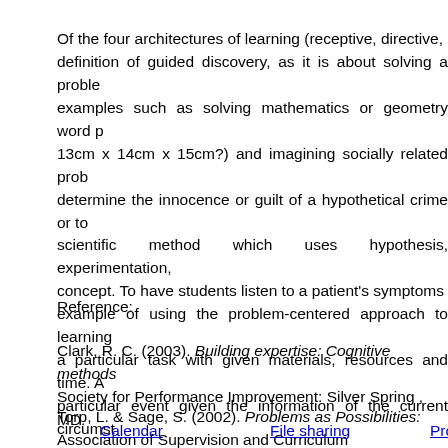Of the four architectures of learning (receptive, directive, definition of guided discovery, as it is about solving a problem examples such as solving mathematics or geometry word p 13cm x 14cm x 15cm?) and imagining socially related prob determine the innocence or guilt of a hypothetical crime or to scientific method which uses hypothesis, experimentation concept. To have students listen to a patient's symptoms example of using the problem-centered approach to learning a particular task with given materials, resources and time. A particular event given the information of the current circumst
Reference:
Clark, R. C. (2003). Building expertise: Cognitive methods Society for Performance Improvement: Silver Spring , MD.
Torp, L. & Sage, S. (2002). Problems as Possibilities: Association of Supervision and Curriculum Development.
u08d4 Forming a Basis Collaboration Tools
Using the list of collaboration tools you created for u08d1, de learning program. What necessary features would be missin
Calendar    File sharing    Project